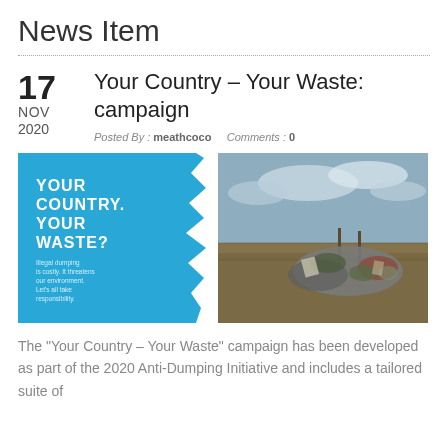News Item
Your Country – Your Waste: campaign
Posted By : meathcoco    Comments : 0
[Figure (photo): Campaign image for 'Your Country. Your Waste?' showing a blue panel with bold white text on the left: 'YOUR COUNTRY. YOUR WASTE? Illegal dumping is costly. It threatens our environment. Let's all take responsibility.' and a photograph on the right showing a large pile of illegally dumped waste/rubbish in a rural landscape under a cloudy sky.]
The "Your Country – Your Waste" campaign has been developed as part of the 2020 Anti-Dumping Initiative and includes a tailored suite of